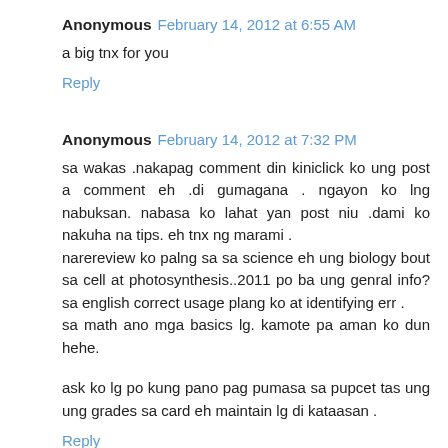Anonymous  February 14, 2012 at 6:55 AM
a big tnx for you
Reply
Anonymous  February 14, 2012 at 7:32 PM
sa wakas .nakapag comment din kiniclick ko ung post a comment eh .di gumagana . ngayon ko lng nabuksan. nabasa ko lahat yan post niu .dami ko nakuha na tips. eh tnx ng marami .
narereview ko palng sa sa science eh ung biology bout sa cell at photosynthesis..2011 po ba ung genral info? sa english correct usage plang ko at identifying err .
sa math ano mga basics lg. kamote pa aman ko dun hehe.
ask ko lg po kung pano pag pumasa sa pupcet tas ung ung grades sa card eh maintain lg di kataasan .
Reply